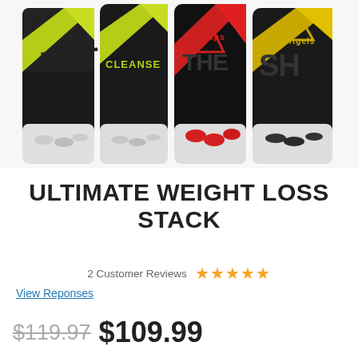[Figure (photo): Four supplement bottles labeled DETOX, CLEANSE, THERMO, and another product, displayed in a row on a white background. Bottles have dark labels with green, red, and gold accents.]
ULTIMATE WEIGHT LOSS STACK
2 Customer Reviews ★★★★★
View Reponses
$119.97 $109.99